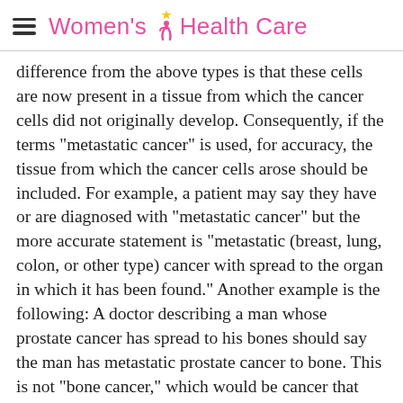Women's Health Care
difference from the above types is that these cells are now present in a tissue from which the cancer cells did not originally develop. Consequently, if the terms "metastatic cancer" is used, for accuracy, the tissue from which the cancer cells arose should be included. For example, a patient may say they have or are diagnosed with "metastatic cancer" but the more accurate statement is "metastatic (breast, lung, colon, or other type) cancer with spread to the organ in which it has been found." Another example is the following: A doctor describing a man whose prostate cancer has spread to his bones should say the man has metastatic prostate cancer to bone. This is not "bone cancer," which would be cancer that started in the bone cells. Metastatic prostate cancer to bone is treated differently than lung cancer to bone.